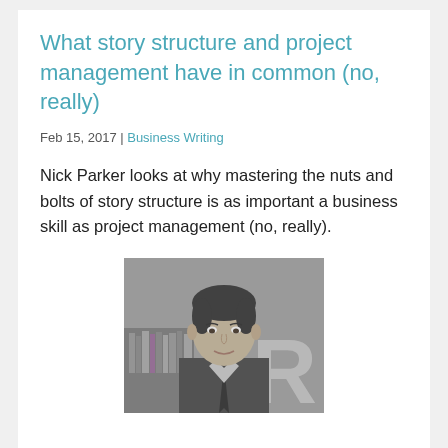What story structure and project management have in common (no, really)
Feb 15, 2017 | Business Writing
Nick Parker looks at why mastering the nuts and bolts of story structure is as important a business skill as project management (no, really).
[Figure (photo): Black and white portrait photo of Nick Parker, a man in a suit with a tie, smiling slightly, with bookshelves and a large letter R in the background.]